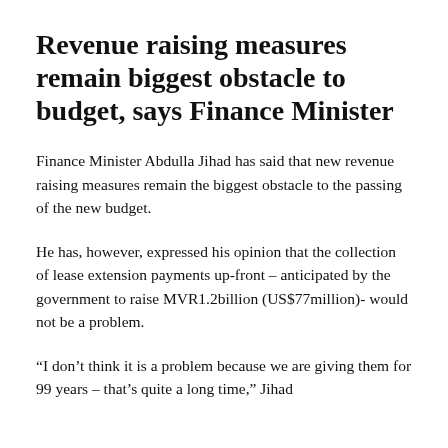Revenue raising measures remain biggest obstacle to budget, says Finance Minister
Finance Minister Abdulla Jihad has said that new revenue raising measures remain the biggest obstacle to the passing of the new budget.
He has, however, expressed his opinion that the collection of lease extension payments up-front – anticipated by the government to raise MVR1.2billion (US$77million)- would not be a problem.
“I don’t think it is a problem because we are giving them for 99 years – that’s quite a long time,” Jihad